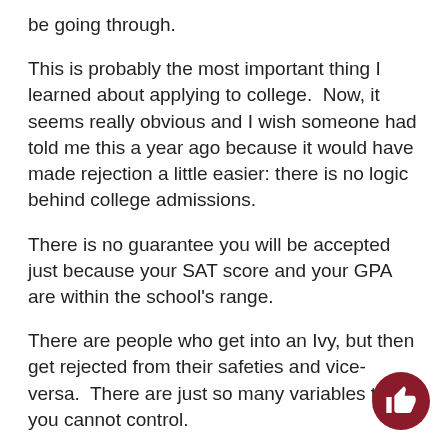be going through.
This is probably the most important thing I learned about applying to college.  Now, it seems really obvious and I wish someone had told me this a year ago because it would have made rejection a little easier: there is no logic behind college admissions.
There is no guarantee you will be accepted just because your SAT score and your GPA are within the school's range.
There are people who get into an Ivy, but then get rejected from their safeties and vice-versa.  There are just so many variables that you cannot control.
Maybe the valedictorian decided to apply to your top choice last minute or maybe your recommendation got lost in the mail or the admissions reader could just have been having a